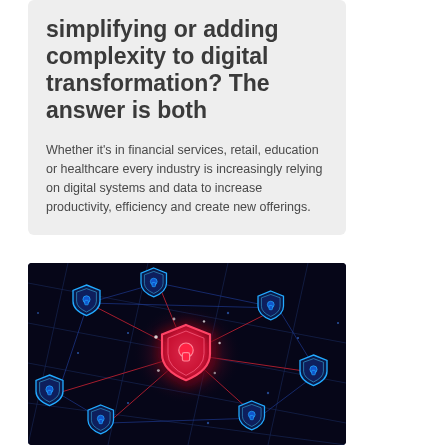simplifying or adding complexity to digital transformation? The answer is both
Whether it's in financial services, retail, education or healthcare every industry is increasingly relying on digital systems and data to increase productivity, efficiency and create new offerings.
[Figure (illustration): Dark blue cybersecurity themed illustration showing multiple glowing blue shield icons with lock symbols connected by geometric lines on a dark navy background, with a central shield glowing red/pink in the center]